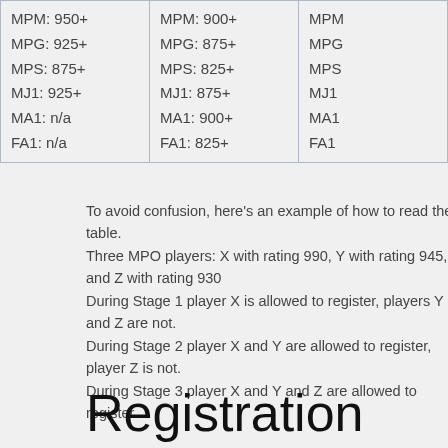| MPM: 950+
MPG: 925+
MPS: 875+
MJ1: 925+
MA1: n/a
FA1: n/a | MPM: 900+
MPG: 875+
MPS: 825+
MJ1: 875+
MA1: 900+
FA1: 825+ | MPM: ...
MPG: ...
MPS: ...
MJ1: ...
MA1: ...
FA1: ... |
To avoid confusion, here's an example of how to read the table.
Three MPO players: X with rating 990, Y with rating 945, and Z with rating 930
During Stage 1 player X is allowed to register, players Y and Z are not.
During Stage 2 player X and Y are allowed to register, player Z is not.
During Stage 3 player X and Y and Z are allowed to register.
Registration form